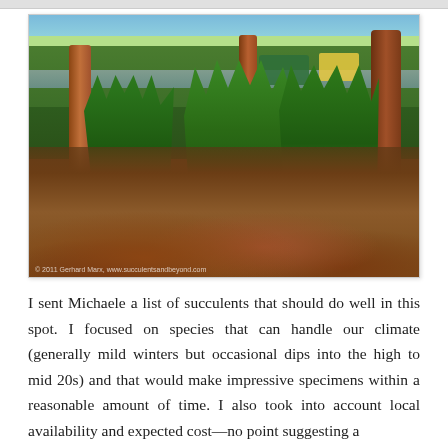[Figure (photo): Outdoor garden or landscaped area with tall grass clumps, reddish tree trunks, bare soil with leaf litter, and parked vehicles visible in the background. Street scene with green vegetation.]
I sent Michaele a list of succulents that should do well in this spot. I focused on species that can handle our climate (generally mild winters but occasional dips into the high to mid 20s) and that would make impressive specimens within a reasonable amount of time. I also took into account local availability and expected cost—no point suggesting a